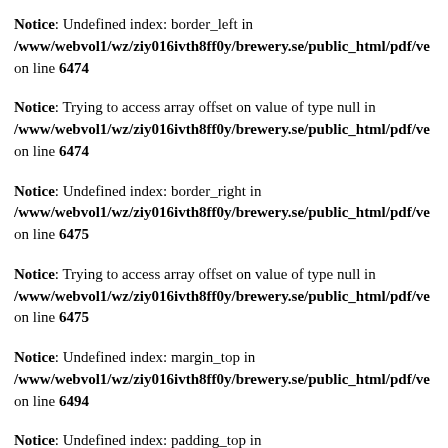Notice: Undefined index: border_left in /www/webvol1/wz/ziy016ivth8ff0y/brewery.se/public_html/pdf/ve on line 6474
Notice: Trying to access array offset on value of type null in /www/webvol1/wz/ziy016ivth8ff0y/brewery.se/public_html/pdf/ve on line 6474
Notice: Undefined index: border_right in /www/webvol1/wz/ziy016ivth8ff0y/brewery.se/public_html/pdf/ve on line 6475
Notice: Trying to access array offset on value of type null in /www/webvol1/wz/ziy016ivth8ff0y/brewery.se/public_html/pdf/ve on line 6475
Notice: Undefined index: margin_top in /www/webvol1/wz/ziy016ivth8ff0y/brewery.se/public_html/pdf/ve on line 6494
Notice: Undefined index: padding_top in /www/webvol1/wz/ziy016ivth8ff0y/brewery.se/public_html/pdf/ve on line 6494
Notice: Undefined index: ...